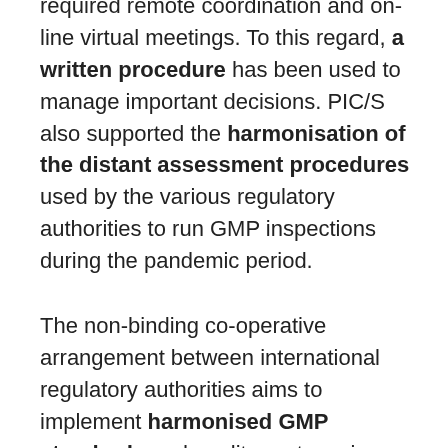required remote coordination and online virtual meetings. To this regard, a written procedure has been used to manage important decisions. PIC/S also supported the harmonisation of the distant assessment procedures used by the various regulatory authorities to run GMP inspections during the pandemic period.
The non-binding co-operative arrangement between international regulatory authorities aims to implement harmonised GMP standards and quality systems in support to harmonised inspection procedures.